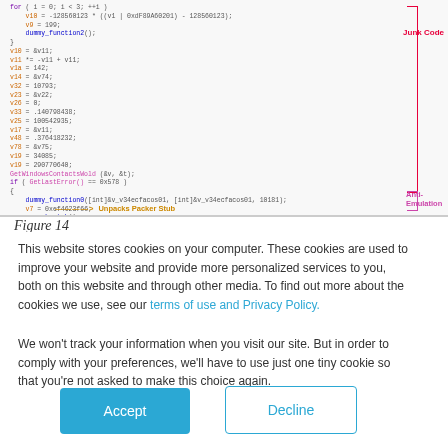[Figure (screenshot): Screenshot of malware/packer code with annotations: 'Junk Code' labeled with red bracket on the right side, 'Anti-Emulation' labeled with pink bracket, and 'Unpacks Packer Stub' labeled with orange arrow pointing right.]
Figure 14
This website stores cookies on your computer. These cookies are used to improve your website and provide more personalized services to you, both on this website and through other media. To find out more about the cookies we use, see our terms of use and Privacy Policy.
We won't track your information when you visit our site. But in order to comply with your preferences, we'll have to use just one tiny cookie so that you're not asked to make this choice again.